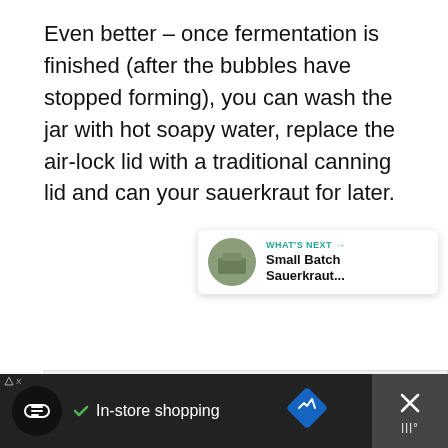Even better – once fermentation is finished (after the bubbles have stopped forming), you can wash the jar with hot soapy water, replace the air-lock lid with a traditional canning lid and can your sauerkraut for later.
[Figure (screenshot): UI overlay area with like button (teal heart), share button, 'What's Next' card showing Small Batch Sauerkraut, and an advertisement bar at the bottom with in-store shopping content]